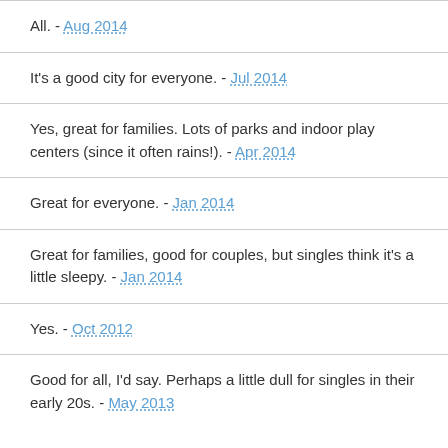All. - Aug 2014
It's a good city for everyone. - Jul 2014
Yes, great for families. Lots of parks and indoor play centers (since it often rains!). - Apr 2014
Great for everyone. - Jan 2014
Great for families, good for couples, but singles think it's a little sleepy. - Jan 2014
Yes. - Oct 2012
Good for all, I'd say. Perhaps a little dull for singles in their early 20s. - May 2013